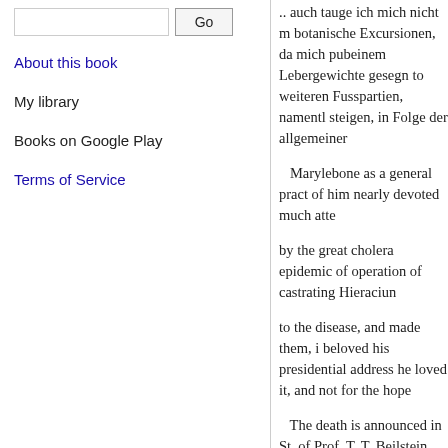Go
About this book
My library
Books on Google Play
Terms of Service
.. auch tauge ich mich nicht m botanische Excursionen, da mich pubeinem Lebergewichte gesegn to weiteren Fusspartien, namentl steigen, in Folge der allgemeiner
Marylebone as a general pract of him nearly devoted much atte
by the great cholera epidemic of operation of castrating Hieraciun
to the disease, and made them, i beloved his presidential address he loved it, and not for the hope
The death is announced in St. of Prof. T. T. Beilstein, the well-h of His numerous researches in or last istry, and especially his work remarks enriched science with m dass das
new direction to chemical indust researches on Caucasian naphtha written in German, were very nu the fact that in '68 a great chan